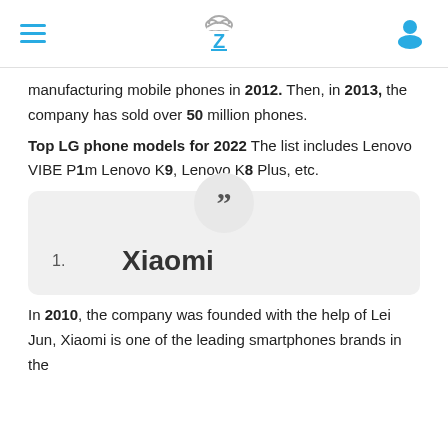Z (logo with cloud icon)
manufacturing mobile phones in 2012. Then, in 2013, the company has sold over 50 million phones.
Top LG phone models for 2022 The list includes Lenovo VIBE P1m Lenovo K9, Lenovo K8 Plus, etc.
[Figure (other): A quote/highlight box with large quotation mark icon at top center, showing numbered item: 1. Xiaomi]
In 2010, the company was founded with the help of Lei Jun, Xiaomi is one of the leading smartphones brands in the